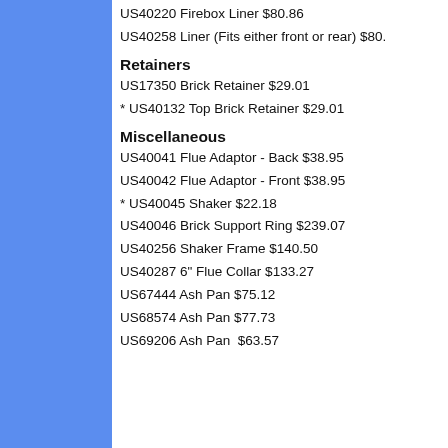US40220 Firebox Liner $80.86
US40258 Liner (Fits either front or rear) $80.
Retainers
US17350 Brick Retainer $29.01
* US40132 Top Brick Retainer $29.01
Miscellaneous
US40041 Flue Adaptor - Back $38.95
US40042 Flue Adaptor - Front $38.95
* US40045 Shaker $22.18
US40046 Brick Support Ring $239.07
US40256 Shaker Frame $140.50
US40287 6" Flue Collar $133.27
US67444 Ash Pan $75.12
US68574 Ash Pan $77.73
US69206 Ash Pan  $63.57